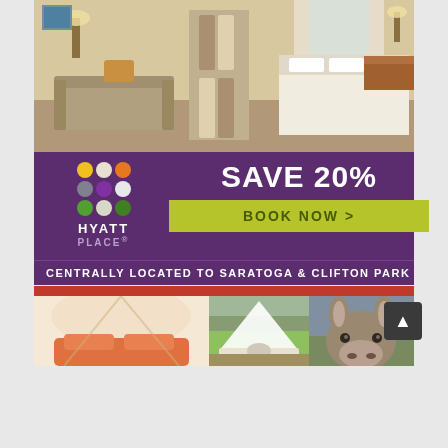[Figure (photo): Hotel room interior with sofa, bed, warm lighting, modern decor — Hyatt Place advertisement]
[Figure (infographic): Hyatt Place purple advertisement banner with colorful dot logo, SAVE 20% text, BOOK NOW > green button, and CENTRALLY LOCATED TO SARATOGA & CLIFTON PARK text]
[Figure (photo): Glamping advertisement showing tent interior with orange bedding, white bell tent exterior outdoors, and a donkey close-up photo]